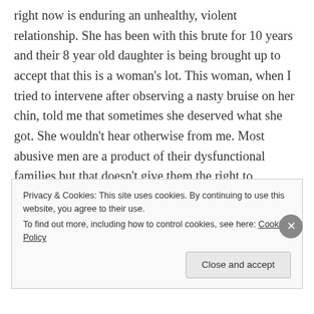right now is enduring an unhealthy, violent relationship. She has been with this brute for 10 years and their 8 year old daughter is being brought up to accept that this is a woman's lot. This woman, when I tried to intervene after observing a nasty bruise on her chin, told me that sometimes she deserved what she got. She wouldn't hear otherwise from me. Most abusive men are a product of their dysfunctional families but that doesn't give them the right to continue their abuse.
Privacy & Cookies: This site uses cookies. By continuing to use this website, you agree to their use.
To find out more, including how to control cookies, see here: Cookie Policy
Close and accept